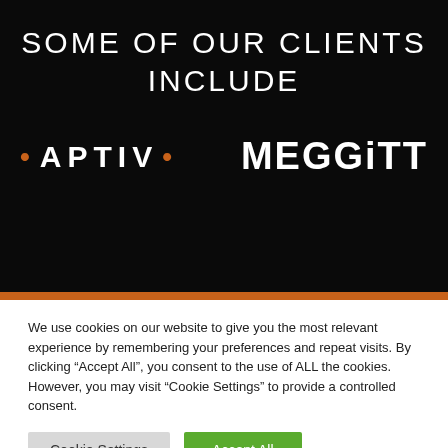SOME OF OUR CLIENTS INCLUDE
[Figure (logo): Aptiv logo with dots and Meggitt logo side by side on black background]
We use cookies on our website to give you the most relevant experience by remembering your preferences and repeat visits. By clicking “Accept All”, you consent to the use of ALL the cookies. However, you may visit “Cookie Settings” to provide a controlled consent.
Cookie Settings
Accept All